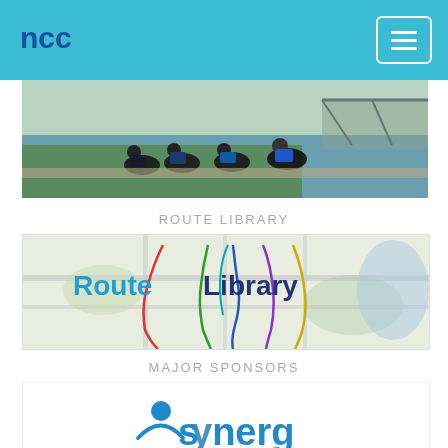NCC navigation bar with logo and hamburger menu
[Figure (photo): Cyclists racing on a path near a river with a bridge in the background]
ROUTE LIBRARY
[Figure (map): Route Library banner showing a map with colored cycling routes overlaid, with text 'Route Library' in blue]
MAJOR SPONSORS
[Figure (logo): Synergy sponsor logo partially visible at bottom of page]